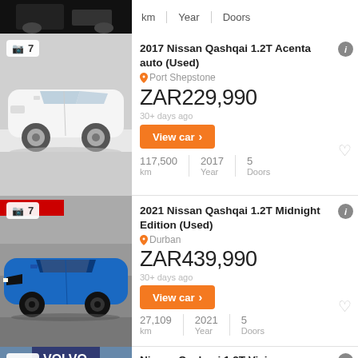[Figure (photo): Partial top strip showing cropped car image (dark background with car detail) and km/Year/Doors stats row]
[Figure (photo): White 2017 Nissan Qashqai side view, 7 photos badge]
2017 Nissan Qashqai 1.2T Acenta auto (Used)
Port Shepstone
ZAR229,990
30+ days ago
View car >
117,500 km | 2017 Year | 5 Doors
[Figure (photo): Blue 2021 Nissan Qashqai front view, 7 photos badge]
2021 Nissan Qashqai 1.2T Midnight Edition (Used)
Durban
ZAR439,990
30+ days ago
View car >
27,109 km | 2021 Year | 5 Doors
[Figure (photo): Blue car partial listing at bottom, Volvo dealership background, 7 photos badge]
Nissan Qashqai 1.2T Visia
Pretoria
ZAR259,650